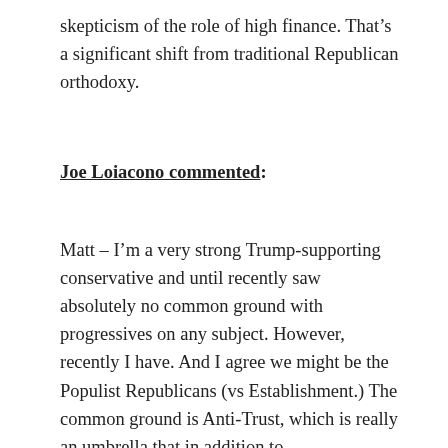skepticism of the role of high finance. That's a significant shift from traditional Republican orthodoxy.
Joe Loiacono commented:
Matt – I'm a very strong Trump-supporting conservative and until recently saw absolutely no common ground with progressives on any subject. However, recently I have. And I agree we might be the Populist Republicans (vs Establishment.) The common ground is Anti-Trust, which is really an umbrella that in addition to